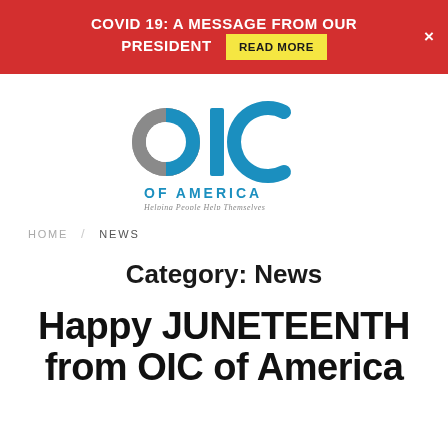COVID 19: A MESSAGE FROM OUR PRESIDENT  READ MORE
[Figure (logo): OIC of America logo — stylized OIC letters in grey and teal, with text 'OF AMERICA' and tagline 'Helping People Help Themselves']
HOME / NEWS
Category: News
Happy JUNETEENTH from OIC of America